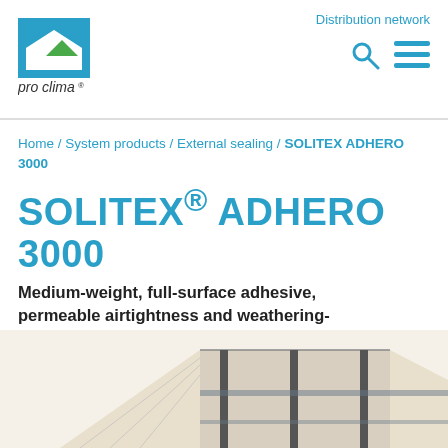[Figure (logo): pro clima logo: blue square with white house/roof silhouette and green triangle, text 'pro clima' below]
Distribution network
Home / System products / External sealing / SOLITEX ADHERO 3000
SOLITEX® ADHERO 3000
Medium-weight, full-surface adhesive, permeable airtightness and weathering-protection membrane
[Figure (photo): Partial view of a building roof structure with membrane installed, light wood and dark framing visible from an aerial/angled perspective]